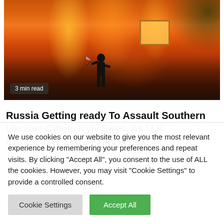[Figure (photo): A firefighter silhouetted against a burning building with intense orange flames and smoke, fighting the fire with a hose.]
3 min read
Russia Getting ready To Assault Southern Ukraine Cities, Kyiv Says, As U.S. Broadcasts Extra Army Assist
3 weeks ago   jasabacklink
We use cookies on our website to give you the most relevant experience by remembering your preferences and repeat visits. By clicking "Accept All", you consent to the use of ALL the cookies. However, you may visit "Cookie Settings" to provide a controlled consent.